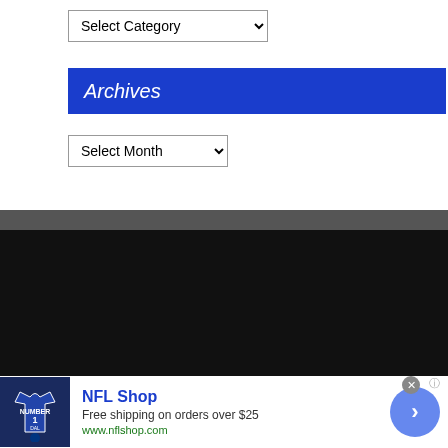Select Category (dropdown)
Archives
Select Month (dropdown)
[Figure (screenshot): SKEWED logo with graffiti-style lettering on dark background, overlaid with 'From the Web / Powered by TeamNet' text and small portrait thumbnails]
[Figure (infographic): NFL Shop advertisement: jersey image, 'NFL Shop', 'Free shipping on orders over $25', 'www.nflshop.com', blue circle arrow button, close X button]